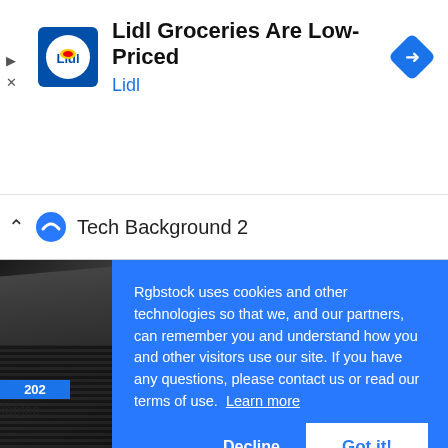[Figure (screenshot): Google ad banner for Lidl Groceries with Lidl logo, ad title 'Lidl Groceries Are Low-Priced', subtitle 'Lidl', navigation arrow icon, and ad control icons (play, close)]
Tech Background 2
[Figure (photo): Partial view of laptop keyboard in dark tones, with image number badge '202' and label 'laptop']
Rgbstock uses cookies and other technologies so that we, and our partners, can remember you and understand how you and other visitors use our site. If you have any questions, please contact us or read our terms of use.  Learn more
Decline
Got it!